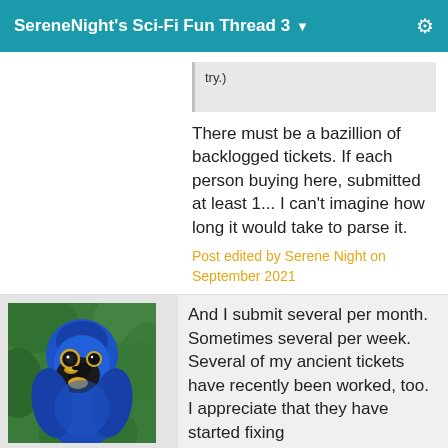SereneNight's Sci-Fi Fun Thread 3
try.)
There must be a bazillion of backlogged tickets. If each person buying here, submitted at least 1... I can't imagine how long it would take to parse it.
Post edited by Serene Night on September 2021
[Figure (photo): Hyacinth macaw (blue parrot) close-up portrait against green background]
barbult
Posts: 19,048
And I submit several per month. Sometimes several per week. Several of my ancient tickets have recently been worked, too. I appreciate that they have started fixing